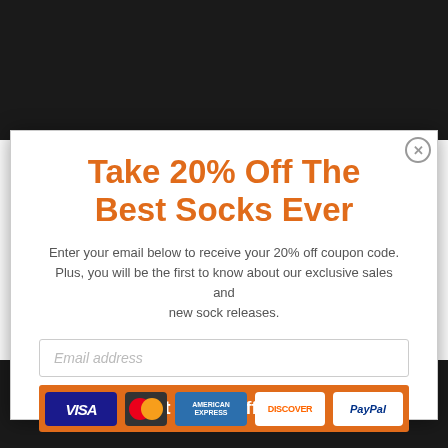Take 20% Off The Best Socks Ever
Enter your email below to receive your 20% off coupon code. Plus, you will be the first to know about our exclusive sales and new sock releases.
Email address
Get a 20% Off Code
[Figure (other): Payment method icons: VISA, Mastercard, American Express, Discover, PayPal]